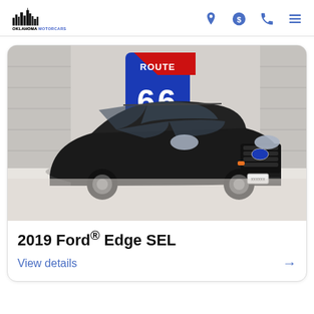Oklahoma Motorcars — navigation header with logo and icons
[Figure (photo): Black 2019 Ford Edge SUV parked indoors in front of a Route 66 sign in a dealership showroom]
2019 Ford® Edge SEL
View details →